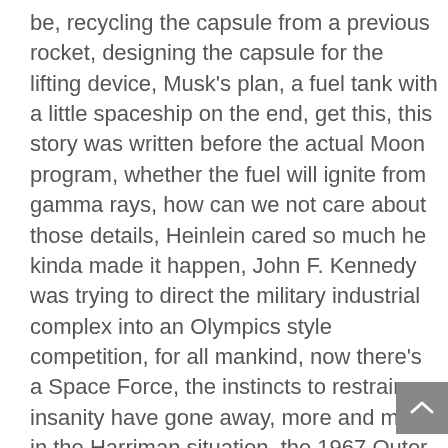be, recycling the capsule from a previous rocket, designing the capsule for the lifting device, Musk's plan, a fuel tank with a little spaceship on the end, get this, this story was written before the actual Moon program, whether the fuel will ignite from gamma rays, how can we not care about those details, Heinlein cared so much he kinda made it happen, John F. Kennedy was trying to direct the military industrial complex into an Olympics style competition, for all mankind, now there's a Space Force, the instincts to restrain insanity have gone away, more and more in the Harriman situation, the 1967 Outer Space Treaty, the Law Of The Seas, the Americans never ratify, a Dutchman named Hugo Grotius, why don't we just be tolerant?, no torturing people, that's all gone now, public schools are terrible, Jesse a nihilist, human civilization, asteroid/meteor/comet, When Worlds Collide, Rogue Planet, not focusing on the ballistics?, Jesse prefers to read books that are out of print?, public domain, [is